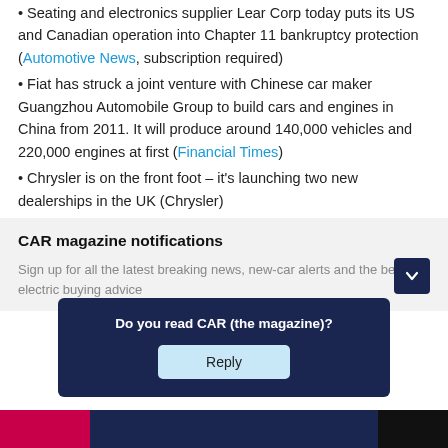Seating and electronics supplier Lear Corp today puts its US and Canadian operation into Chapter 11 bankruptcy protection (Automotive News, subscription required)
Fiat has struck a joint venture with Chinese car maker Guangzhou Automobile Group to build cars and engines in China from 2011. It will produce around 140,000 vehicles and 220,000 engines at first (Financial Times)
Chrysler is on the front foot – it's launching two new dealerships in the UK (Chrysler)
CAR magazine notifications
Sign up for all the latest breaking news, new-car alerts and the best electric buying advice
Do you read CAR (the magazine)?
Reply